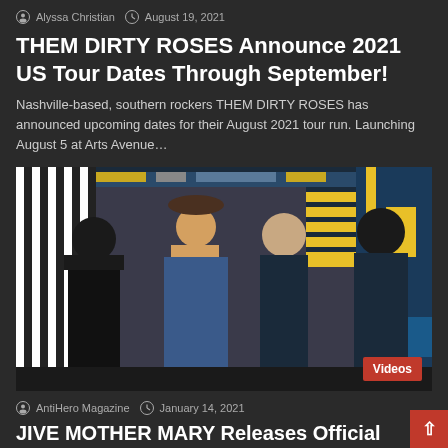Alyssa Christian  August 19, 2021
THEM DIRTY ROSES Announce 2021 US Tour Dates Through September!
Nashville-based, southern rockers THEM DIRTY ROSES has announced upcoming dates for their August 2021 tour run. Launching August 5 at Arts Avenue…
[Figure (photo): Photo of four band members standing in front of a colorful mural. One member wears a wide-brim hat and long blond hair; others have dark hair, one wearing sunglasses. A red 'Videos' badge overlays the bottom right corner.]
AntiHero Magazine  January 14, 2021
JIVE MOTHER MARY Releases Official